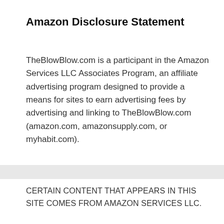Amazon Disclosure Statement
TheBlowBlow.com is a participant in the Amazon Services LLC Associates Program, an affiliate advertising program designed to provide a means for sites to earn advertising fees by advertising and linking to TheBlowBlow.com (amazon.com, amazonsupply.com, or myhabit.com).
CERTAIN CONTENT THAT APPEARS IN THIS SITE COMES FROM AMAZON SERVICES LLC.